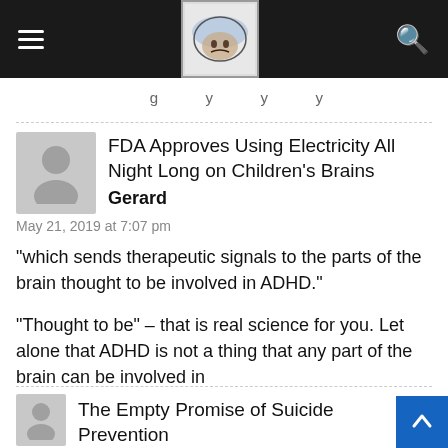Navigation bar with hamburger menu, brain logo, and search icon
...g...y...y...y...
FDA Approves Using Electricity All Night Long on Children's Brains
Gerard
May 21, 2019 at 7:07 pm
"which sends therapeutic signals to the parts of the brain thought to be involved in ADHD."

"Thought to be" – that is real science for you. Let alone that ADHD is not a thing that any part of the brain can be involved in
The Empty Promise of Suicide Prevention...